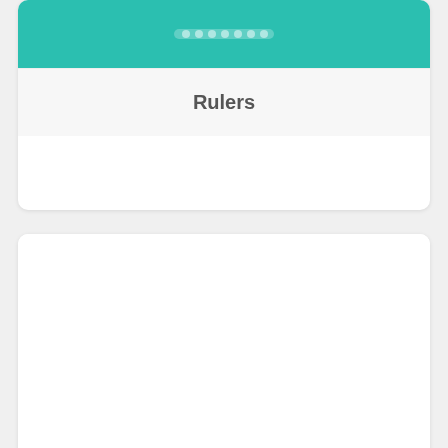[Figure (illustration): Teal banner with white dots pattern at top of card]
Rulers
[Figure (photo): Image Not Available placeholder with camera icon]
Scissors/Rotary Cutters/Blades